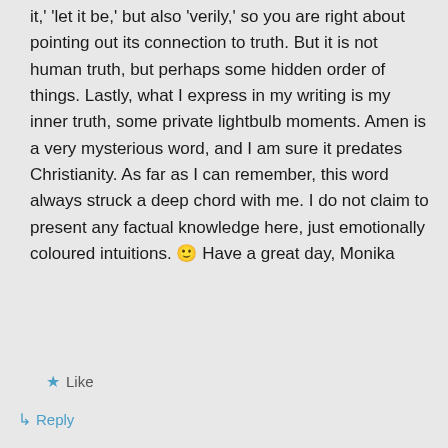it,' 'let it be,' but also 'verily,' so you are right about pointing out its connection to truth. But it is not human truth, but perhaps some hidden order of things. Lastly, what I express in my writing is my inner truth, some private lightbulb moments. Amen is a very mysterious word, and I am sure it predates Christianity. As far as I can remember, this word always struck a deep chord with me. I do not claim to present any factual knowledge here, just emotionally coloured intuitions. 🙂 Have a great day, Monika
★ Like
↳ Reply